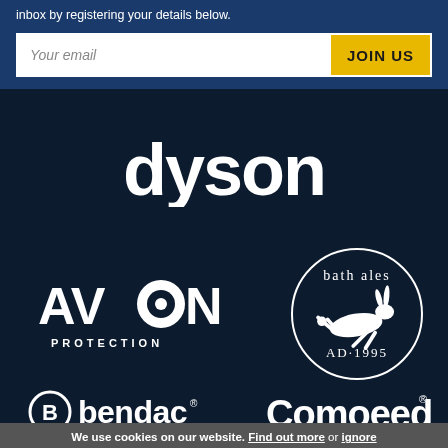Stay up to date with all the latest news, straight into your inbox by registering your details below.
[Figure (other): Email signup form with white input field reading 'Your email' and yellow JOIN US button]
[Figure (logo): Dyson logo in white on dark navy background]
[Figure (logo): Avon Protection logo in white on dark navy background]
[Figure (logo): Bath Ales logo with running hare and text 'bath ales AD·1995' in white on dark navy]
[Figure (logo): Bendac logo with stylized B in circle and 'bendac' text in white]
[Figure (logo): Comoeed logo with stylized C and 'omoeed' text with registered trademark symbol in white]
We use cookies on our website. Find out more or ignore